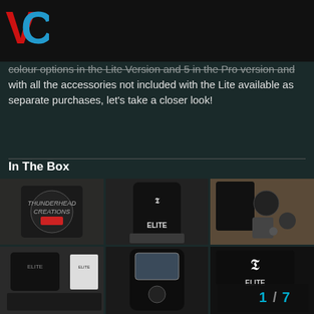[Figure (logo): VC logo — red V and blue/cyan C letters on dark background]
colour options in the Lite Version and 5 in the Pro version and with all the accessories not included with the Lite available as separate purchases, let's take a closer look!
In The Box
[Figure (photo): 6-panel photo grid showing Thunderhead Creations Elite vaporizer product shots: carry bag with logo, device held in hand with ELITE branding, accessories laid out, carrying case with accessories, device open showing screen, device case closeup. Bottom right shows page indicator 1/7.]